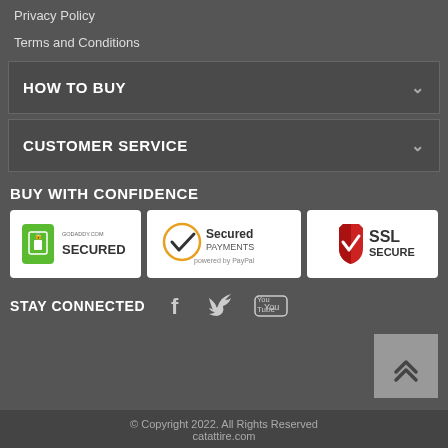Privacy Policy
Terms and Conditions
HOW TO BUY
CUSTOMER SERVICE
BUY WITH CONFIDENCE
[Figure (logo): GoDaddy.com Secured badge]
[Figure (logo): Secured Payments powered by PayPal badge]
[Figure (logo): SSL Secure badge]
STAY CONNECTED
© Copyright 2022. All Rights Reserved
catattire.com